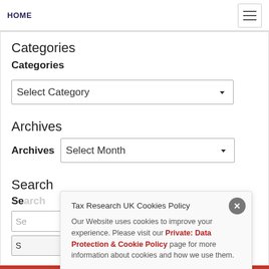HOME
Categories
Categories
Select Category
Archives
Archives
Select Month
Search
Se...
Tax Research UK Cookies Policy
Our Website uses cookies to improve your experience. Please visit our Private: Data Protection & Cookie Policy page for more information about cookies and how we use them.